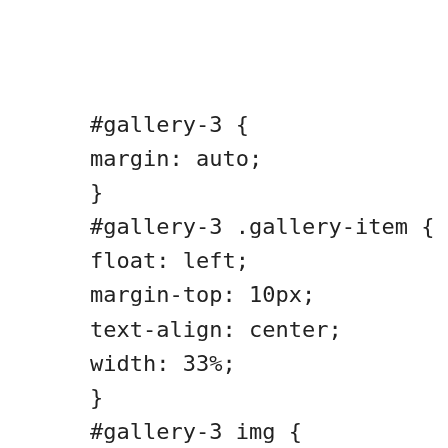#gallery-3 {
margin: auto;
}
#gallery-3 .gallery-item {
float: left;
margin-top: 10px;
text-align: center;
width: 33%;
}
#gallery-3 img {
border: 2px solid #cfcfcf;
}